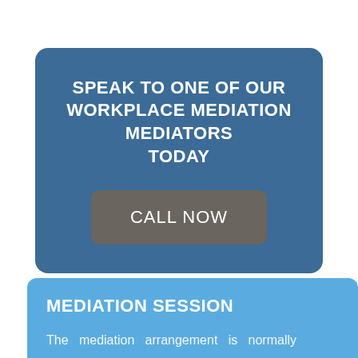SPEAK TO ONE OF OUR WORKPLACE MEDIATION MEDIATORS TODAY
CALL NOW
MEDIATION SESSION
The mediation arrangement is normally